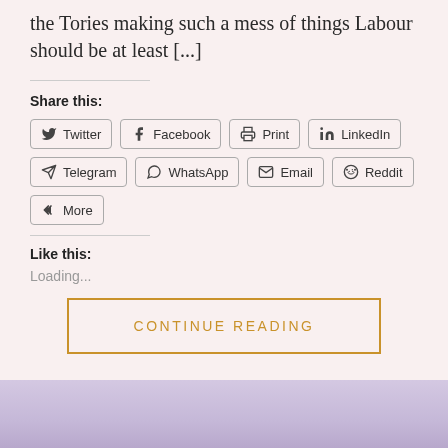the Tories making such a mess of things Labour should be at least [...]
Share this:
Twitter
Facebook
Print
LinkedIn
Telegram
WhatsApp
Email
Reddit
More
Like this:
Loading...
CONTINUE READING
[Figure (photo): Bottom strip showing partial photo with lavender/purple background]